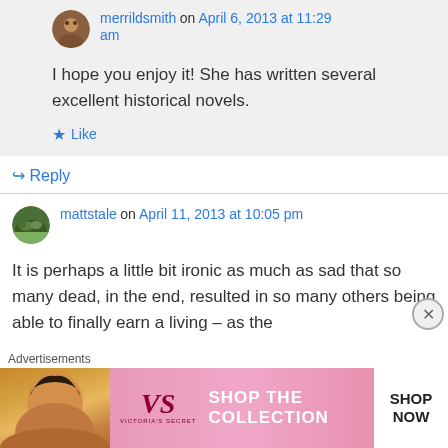merrildsmith on April 6, 2013 at 11:29 am
I hope you enjoy it! She has written several excellent historical novels.
Like
Reply
mattstale on April 11, 2013 at 10:05 pm
It is perhaps a little bit ironic as much as sad that so many dead, in the end, resulted in so many others being able to finally earn a living – as the
Advertisements
[Figure (photo): Victoria's Secret advertisement banner with a woman's photo, VS logo, 'SHOP THE COLLECTION' text, and 'SHOP NOW' button]